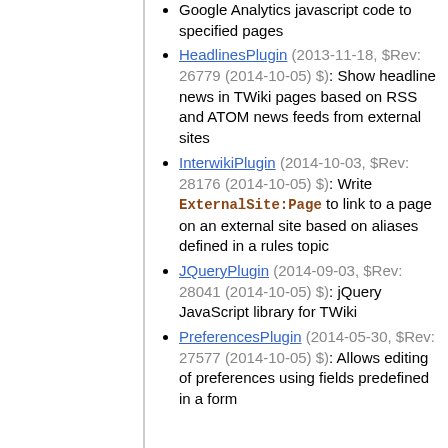Google Analytics javascript code to specified pages
HeadlinesPlugin (2013-11-18, $Rev: 26779 (2014-10-05) $): Show headline news in TWiki pages based on RSS and ATOM news feeds from external sites
InterwikiPlugin (2014-10-03, $Rev: 28176 (2014-10-05) $): Write ExternalSite:Page to link to a page on an external site based on aliases defined in a rules topic
JQueryPlugin (2014-09-03, $Rev: 28041 (2014-10-05) $): jQuery JavaScript library for TWiki
PreferencesPlugin (2014-05-30, $Rev: 27577 (2014-10-05) $): Allows editing of preferences using fields predefined in a form